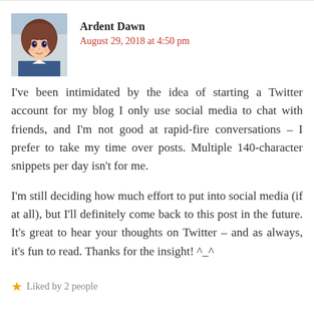[Figure (illustration): Anime-style avatar of a girl with brown hair wearing a school uniform]
Ardent Dawn
August 29, 2018 at 4:50 pm
I've been intimidated by the idea of starting a Twitter account for my blog I only use social media to chat with friends, and I'm not good at rapid-fire conversations – I prefer to take my time over posts. Multiple 140-character snippets per day isn't for me.
I'm still deciding how much effort to put into social media (if at all), but I'll definitely come back to this post in the future. It's great to hear your thoughts on Twitter – and as always, it's fun to read. Thanks for the insight! ^_^
Liked by 2 people